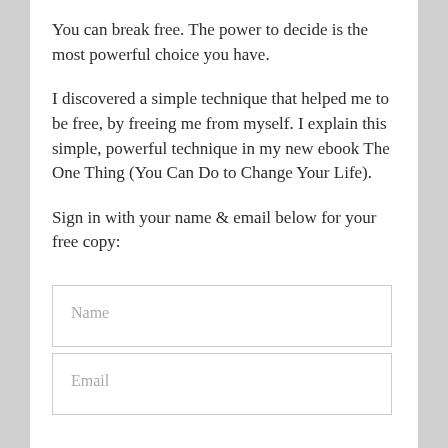You can break free. The power to decide is the most powerful choice you have.
I discovered a simple technique that helped me to be free, by freeing me from myself. I explain this simple, powerful technique in my new ebook The One Thing (You Can Do to Change Your Life).
Sign in with your name & email below for your free copy:
Name
Email